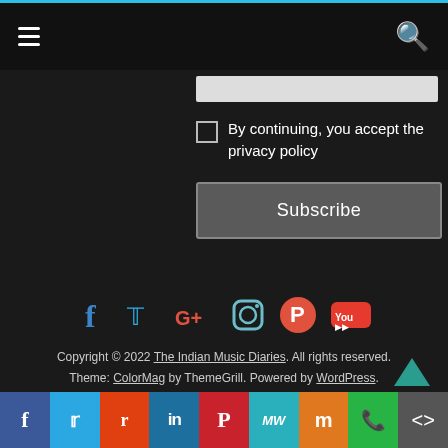Navigation bar with hamburger menu and search icon
[Figure (screenshot): Email subscription form area with input field, privacy policy checkbox and Subscribe button]
By continuing, you accept the privacy policy
[Figure (infographic): Social media icons row: Facebook, Twitter, Google+, Instagram, Pinterest, YouTube]
Copyright © 2022 The Indian Music Diaries. All rights reserved. Theme: ColorMag by ThemeGrill. Powered by WordPress.
Share bar with Facebook, Twitter, Reddit, LinkedIn, Pinterest, MeWe, Mix, WhatsApp, More buttons